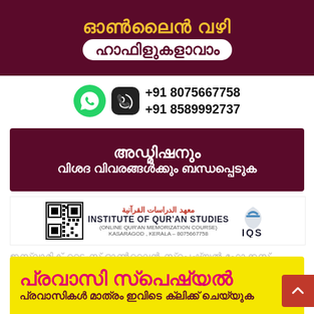[Figure (infographic): Dark maroon banner with Malayalam text 'ഓൺലൈൻ വഴി' in yellow bold and 'ഹാഫിളുകളാവാം' in white rounded box]
+91 8075667758
+91 8589992737
[Figure (infographic): Dark maroon admission banner with Malayalam text 'അഡ്മിഷനും വിശദ വിവരങ്ങൾക്കും ബന്ധപ്പെടുക']
[Figure (logo): Institute of Qur'an Studies logo with QR code, Arabic text معهد الدراسات القرآنية, INSTITUTE OF QUR'AN STUDIES (ONLINE QURAN MEMORIZATION COURSE), KASARAGOD, KERALA - 8075667758, and IQS logo]
ഇസ്‌ലാമിക് ടൈംസ് ഓൺലൈൻ സ്‌പെഷ്യൽ ഫോക്കസ്
[Figure (infographic): Yellow banner with pink/red Malayalam text 'പ്രവാസി സ്പെഷ്യൽ' and dark maroon text 'പ്രവാസികൾ മാത്രം ഇവിടെ ക്ലിക്ക് ചെയ്യുക']